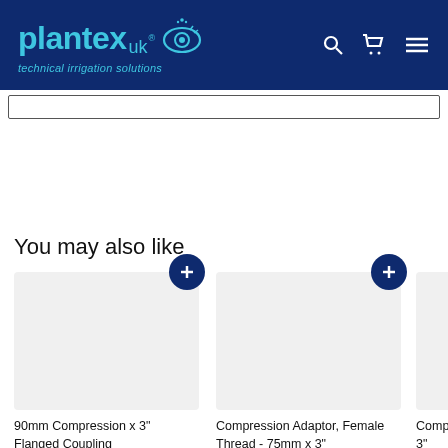[Figure (logo): Plantex UK logo with cyan text and eye/droplet icon on dark navy background, tagline 'technical irrigation solutions']
You may also like
90mm Compression x 3" Flanged Coupling
Compression Adaptor, Female Thread - 75mm x 3"
Comp Male T 3"